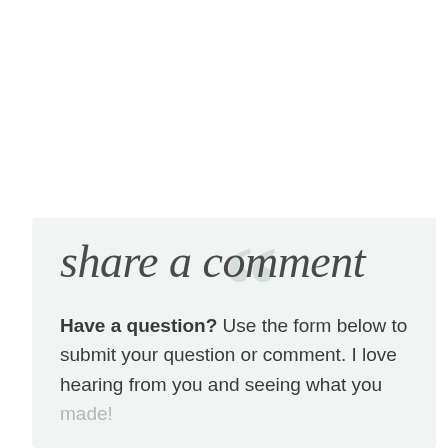share a comment
Have a question? Use the form below to submit your question or comment. I love hearing from you and seeing what you made!